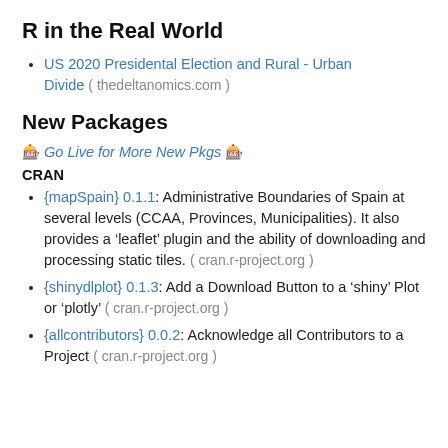R in the Real World
US 2020 Presidental Election and Rural - Urban Divide ( thedeltanomics.com )
New Packages
🎲 Go Live for More New Pkgs 🎲
CRAN
{mapSpain} 0.1.1: Administrative Boundaries of Spain at several levels (CCAA, Provinces, Municipalities). It also provides a 'leaflet' plugin and the ability of downloading and processing static tiles. ( cran.r-project.org )
{shinydlplot} 0.1.3: Add a Download Button to a 'shiny' Plot or 'plotly' ( cran.r-project.org )
{allcontributors} 0.0.2: Acknowledge all Contributors to a Project ( cran.r-project.org )